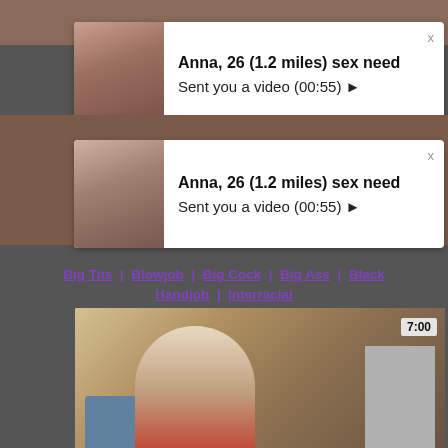[Figure (screenshot): Top background image strip, skin-tone colored background]
[Figure (screenshot): First notification popup: profile photo of dark-haired woman on left, text 'Anna, 26 (1.2 miles) sex need' and 'Sent you a video (00:55) ►' on white background with X close button]
[Figure (screenshot): Background image strip showing similar skin-tone content]
[Figure (screenshot): Second notification popup: same profile photo of dark-haired woman, text 'Anna, 26 (1.2 miles) sex need' and 'Sent you a video (00:55) ►' on white background with X close button]
Big Tits | Blowjob | Big Cock | Big Ass | Black
Handjob | Interracial
[Figure (screenshot): Video thumbnail showing a woman in a laundry room holding a yellow cloth, with laundry basket and clothes rack, duration label '7:00' in top right corner]